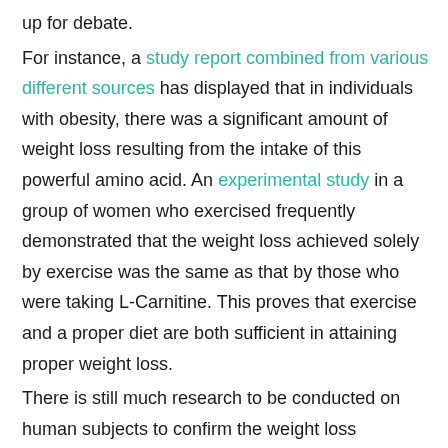up for debate.
For instance, a study report combined from various different sources has displayed that in individuals with obesity, there was a significant amount of weight loss resulting from the intake of this powerful amino acid. An experimental study in a group of women who exercised frequently demonstrated that the weight loss achieved solely by exercise was the same as that by those who were taking L-Carnitine. This proves that exercise and a proper diet are both sufficient in attaining proper weight loss.
There is still much research to be conducted on human subjects to confirm the weight loss characteristics of L-Carnitine, but the potential is huge.